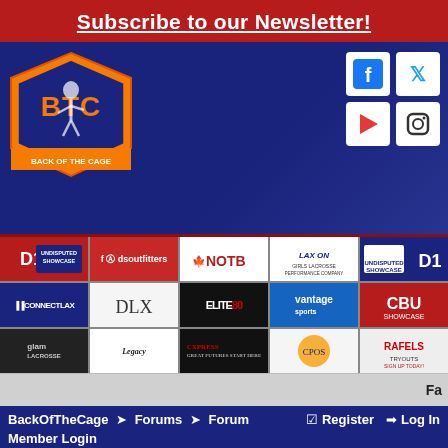Subscribe to our Newsletter!
[Figure (logo): Back Of The Cage (BTC) lacrosse logo - orange pennant shield with BTC letters and lacrosse player silhouette]
[Figure (infographic): Sponsor logos grid: D1 Undisputed Showcase, dsoutfitters, NOTB, LAX ON Girls Lacrosse Performance Company, Undisputed Showcase D1, ConnectLax, DLX, Elite80, Vantage Sports, CBU Showcase, Glam Lacrosse, Legacy, Cxpress, CPOS, Rafels Tryouts]
Fa
BackOfTheCage > Forums > Forum
Register   Log In
Member Login
HOME   EVENTS   BLOGS   FORUMS   MEMBER LIST
CALENDAR   ACTIVE THREADS   CONTACT US
COMMITMENT CENTER   HS SCORES